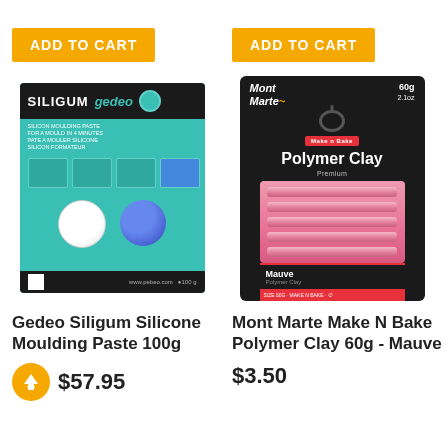[Figure (other): Orange 'ADD TO CART' button for left product]
[Figure (photo): Gedeo Siligum silicone moulding paste product in teal/black packaging with two component balls (white and blue)]
Gedeo Siligum Silicone Moulding Paste 100g
[Figure (other): Orange circle with upward arrow icon and price $57.95]
[Figure (other): Orange 'ADD TO CART' button for right product]
[Figure (photo): Mont Marte Make N Bake Polymer Clay 60g Mauve in black blister packaging showing pink clay block]
Mont Marte Make N Bake Polymer Clay 60g - Mauve
$3.50